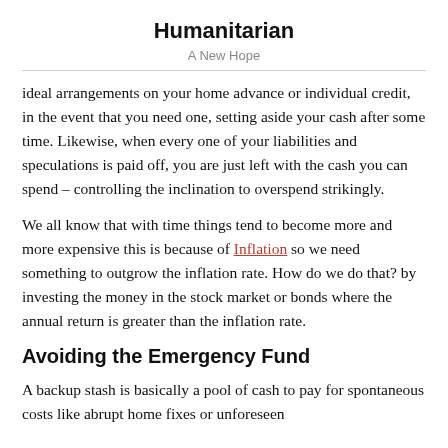Humanitarian
A New Hope
ideal arrangements on your home advance or individual credit, in the event that you need one, setting aside your cash after some time. Likewise, when every one of your liabilities and speculations is paid off, you are just left with the cash you can spend – controlling the inclination to overspend strikingly.
We all know that with time things tend to become more and more expensive this is because of Inflation so we need something to outgrow the inflation rate. How do we do that? by investing the money in the stock market or bonds where the annual return is greater than the inflation rate.
Avoiding the Emergency Fund
A backup stash is basically a pool of cash to pay for spontaneous costs like abrupt home fixes or unforeseen